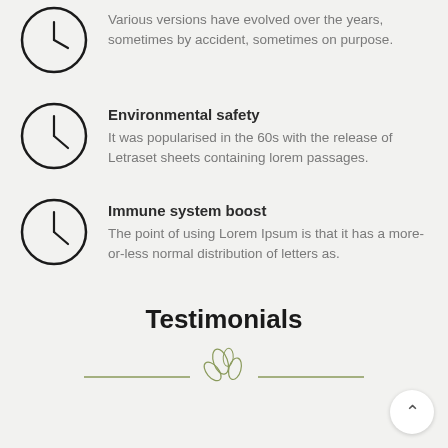Various versions have evolved over the years, sometimes by accident, sometimes on purpose.
Environmental safety
It was popularised in the 60s with the release of Letraset sheets containing lorem passages.
Immune system boost
The point of using Lorem Ipsum is that it has a more-or-less normal distribution of letters as.
Testimonials